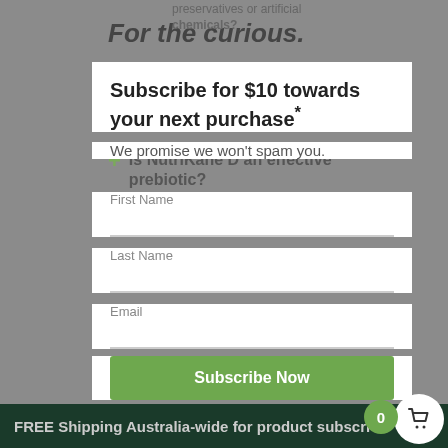For the curious.
preservatives or artificial chemicals?
Is NutriKane D an effective prebiotic?
Is NutriKane D gluten free?
Is NutriKane D low FODMAP?
What is the ratio of soluble to insoluble fibre in NutriKane D?
What's in NutriKane D?
Why is Sugarcane a key
Subscribe for $10 towards your next purchase*
We promise we won't spam you.
First Name
Last Name
Email
Subscribe Now
*Terms & Conditions: $10 only available for new subscribers.
Dismiss
FREE Shipping Australia-wide for product subscri…